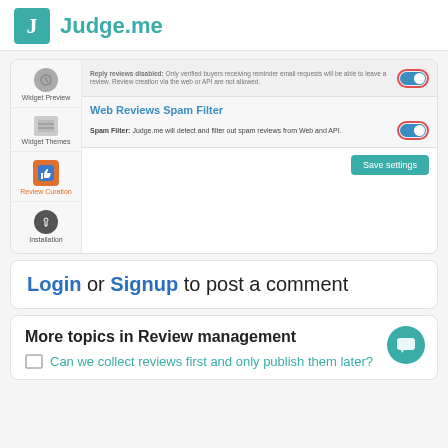[Figure (logo): Judge.me logo: teal square with white J letter and teal brand name text]
[Figure (screenshot): App settings UI with sidebar navigation (Widget Preview, Widget Themes, Review Curation, Installation) and main content area showing two toggle settings: one for reviews and one for Web Reviews Spam Filter with Save settings button]
Login or Signup to post a comment
More topics in Review management
Can we collect reviews first and only publish them later?